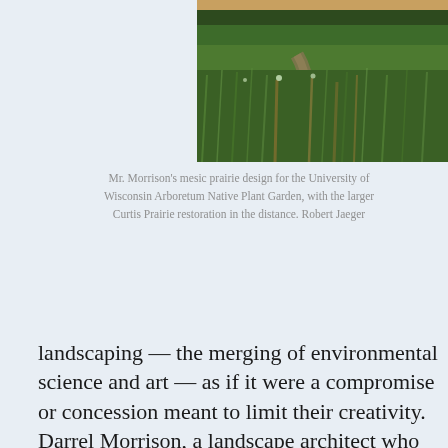[Figure (photo): Aerial/ground-level view of a lush green mesic prairie landscape with tall grasses and a winding path, trees visible in the background distance.]
Mr. Morrison’s mesic prairie design for the University of Wisconsin Arboretum Native Plant Garden, with the larger Curtis Prairie restoration in the distance. Robert Jaeger
landscaping — the merging of environmental science and art — as if it were a compromise or concession meant to limit their creativity. Darrel Morrison, a landscape architect who has been